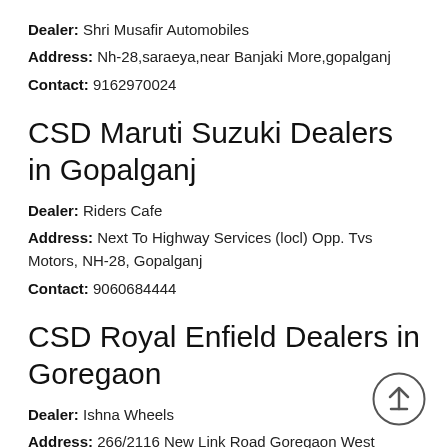Dealer: Shri Musafir Automobiles
Address: Nh-28,saraeya,near Banjaki More,gopalganj
Contact: 9162970024
CSD Maruti Suzuki Dealers in Gopalganj
Dealer: Riders Cafe
Address: Next To Highway Services (locl) Opp. Tvs Motors, NH-28, Gopalganj
Contact: 9060684444
CSD Royal Enfield Dealers in Goregaon
Dealer: Ishna Wheels
Address: 266/2116 New Link Road Goregaon West